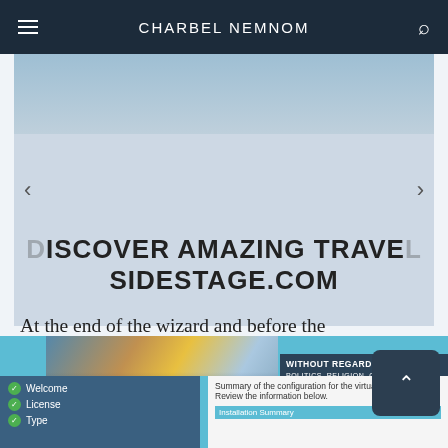CHARBEL NEMNOM
[Figure (infographic): Advertisement banner with navigation arrows showing text 'DISCOVER AMAZING TRAVEL SIDESTAGE.COM']
At the end of the wizard and before the actual installation is started, the installer presents a summary page of the settings. Please review this page carefully and compare it with your plan guides.
[Figure (screenshot): Screenshot of a virtual machine configuration summary wizard showing menu items: Welcome, License, Type and a summary panel with text 'Summary of the configuration for the virtual machine. Review the information below.' and an 'Installation Summary' section. Also shows a cargo plane image with overlay text 'WITHOUT REGARD TO POLITICS, RELIGION, OR UTILITY TO MAN']